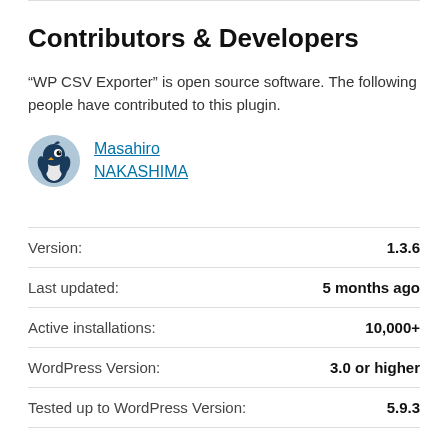Contributors & Developers
“WP CSV Exporter” is open source software. The following people have contributed to this plugin.
[Figure (illustration): Avatar icon of a blue bird/penguin figure used as profile picture for Masahiro NAKASHIMA]
Masahiro NAKASHIMA
|  |  |
| --- | --- |
| Version: | 1.3.6 |
| Last updated: | 5 months ago |
| Active installations: | 10,000+ |
| WordPress Version: | 3.0 or higher |
| Tested up to WordPress Version: | 5.9.3 |